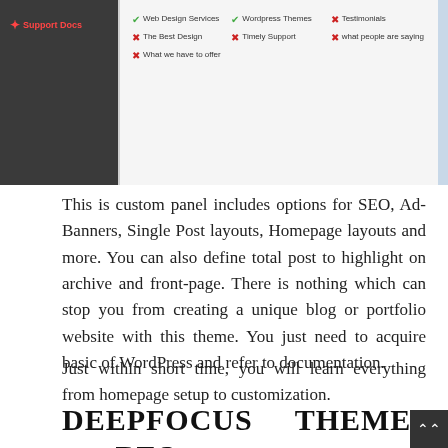[Figure (screenshot): Screenshot of a website support docs panel on the left (dark background) and a checklist panel on the right showing items like Web Design Services (check), Wordpress Themes (check), Testimonials (X), The Best Design (X), Timely Support (X), what people are saying (X), What we have to offer (X)]
This is custom panel includes options for SEO, Ad-Banners, Single Post layouts, Homepage layouts and more. You can also define total post to highlight on archive and front-page. There is nothing which can stop you from creating a unique blog or portfolio website with this theme. You just need to acquire basic of WordPress and refer to documentation.
Just within short time, you will learn everything from homepage setup to customization.
DEEPFOCUS THEME : BEST FEATURES